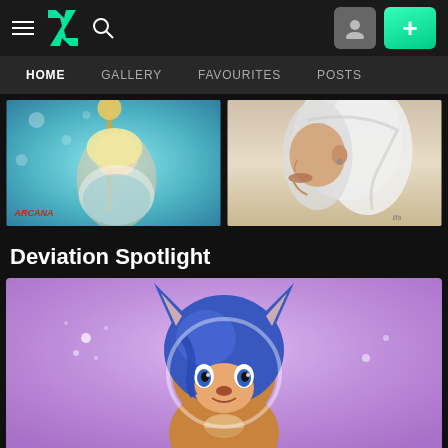DeviantArt navigation bar with hamburger menu, logo, search icon, user avatar button, and add button
HOME | GALLERY | FAVOURITES | POSTS
[Figure (illustration): Anime-style magical girl character holding a staff, teal/blue color scheme, ARCANA text label in bottom left]
[Figure (illustration): Realistic portrait drawing of a person with long white/silver hair, side profile showing lips and chin area]
Deviation Spotlight
[Figure (illustration): Cartoon-style anthropomorphic deer/animal character with blue hair on purple/lavender gradient background]